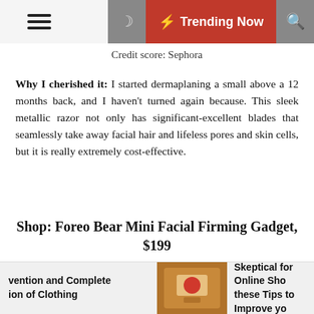☰  🌙  ⚡ Trending Now  🔍
Credit score: Sephora
Why I cherished it: I started dermaplaning a small above a 12 months back, and I haven't turned again because. This sleek metallic razor not only has significant-excellent blades that seamlessly take away facial hair and lifeless pores and skin cells, but it is really extremely cost-effective.
Shop: Foreo Bear Mini Facial Firming Gadget, $199
[Figure (photo): Foreo Bear Mini Facial Firming Gadget product image showing a lavender/purple device with two silver metallic spheres on top]
vention and Complete ion of Clothing | [image] | Skeptical for Online Sho these Tips to Improve yo